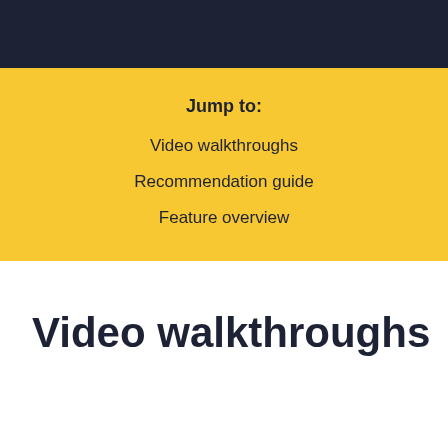Jump to:
Video walkthroughs
Recommendation guide
Feature overview
Video walkthroughs